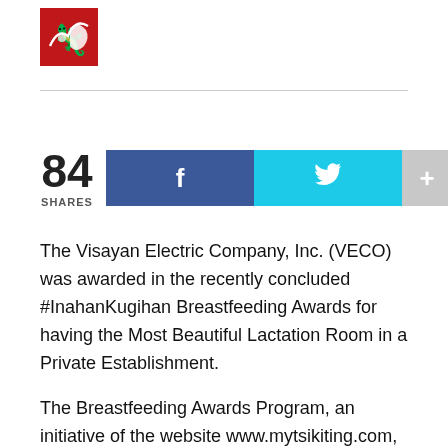[Figure (logo): Red square logo with white animal/creature figure]
The Visayan Electric Company, Inc. (VECO) was awarded in the recently concluded #InahanKugihan Breastfeeding Awards for having the Most Beautiful Lactation Room in a Private Establishment.
The Breastfeeding Awards Program, an initiative of the website www.mytsikiting.com, is "lovingly